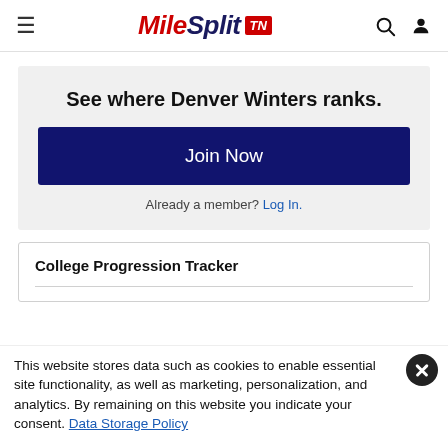MileSplit TN
See where Denver Winters ranks.
Join Now
Already a member? Log In.
College Progression Tracker
This website stores data such as cookies to enable essential site functionality, as well as marketing, personalization, and analytics. By remaining on this website you indicate your consent. Data Storage Policy